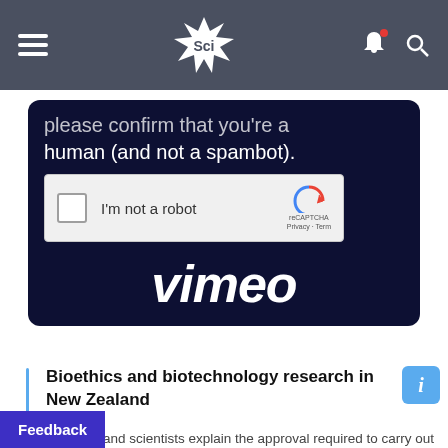Sci — Science news website header with hamburger menu, Sci logo, notification bell, and search icon
[Figure (screenshot): Dark navy reCAPTCHA verification card showing 'please confirm that you're a human (and not a spambot).' with a reCAPTCHA 'I'm not a robot' checkbox widget, and Vimeo logo text below]
Bioethics and biotechnology research in New Zealand
New Zealand scientists explain the approval required to carry out biotechnology